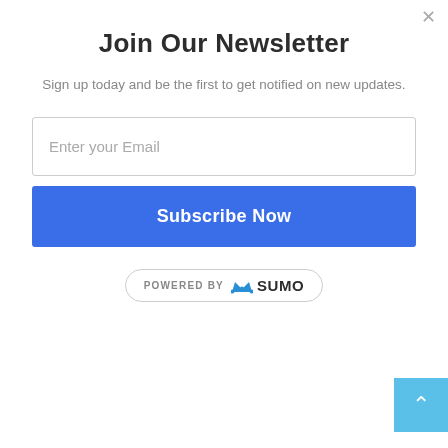Join Our Newsletter
Sign up today and be the first to get notified on new updates.
Enter your Email
Subscribe Now
[Figure (logo): POWERED BY SUMO badge with crown icon, rounded pill border]
[Figure (other): Back to top button, light blue square with white upward arrow, bottom right corner]